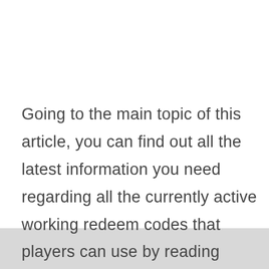Going to the main topic of this article, you can find out all the latest information you need regarding all the currently active working redeem codes that players can use by reading below.